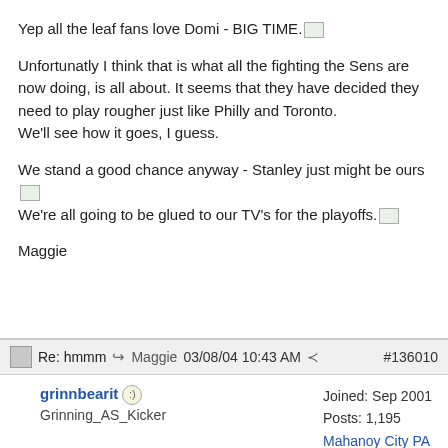Yep all the leaf fans love Domi - BIG TIME. [emoji]
Unfortunatly I think that is what all the fighting the Sens are now doing, is all about. It seems that they have decided they need to play rougher just like Philly and Toronto.
We'll see how it goes, I guess.
We stand a good chance anyway - Stanley just might be ours [emoji]
We're all going to be glued to our TV's for the playoffs. [emoji]
Maggie
Re: hmmm  → Maggie  03/08/04 10:43 AM  #136010
grinnbearit  Grinning_AS_Kicker  Joined: Sep 2001  Posts: 1,195  Mahanoy City PA